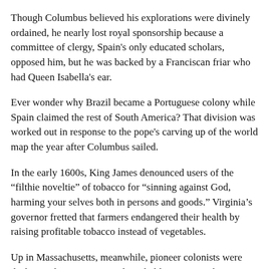Though Columbus believed his explorations were divinely ordained, he nearly lost royal sponsorship because a committee of clergy, Spain's only educated scholars, opposed him, but he was backed by a Franciscan friar who had Queen Isabella's ear.
Ever wonder why Brazil became a Portuguese colony while Spain claimed the rest of South America? That division was worked out in response to the pope's carving up of the world map the year after Columbus sailed.
In the early 1600s, King James denounced users of the “filthie noveltie” of tobacco for “sinning against God, harming your selves both in persons and goods.” Virginia’s governor fretted that farmers endangered their health by raising profitable tobacco instead of vegetables.
Up in Massachusetts, meanwhile, pioneer colonists were declaring that American Indians held property rights to any land they cultivated and maintained. The basis cited for this law? Genesis 1:28 and 9:1, and Psalm 115.
“The first individual to bring some degree of unity to the colonies was not a politician,” we’re told, but evangelist George Whitefield. He drew huge audiences from Boston to Georgia beginning in